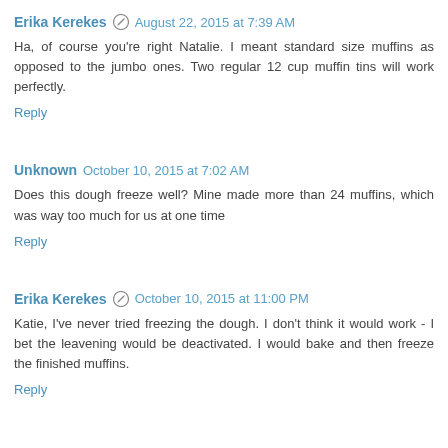Erika Kerekes  August 22, 2015 at 7:39 AM
Ha, of course you're right Natalie. I meant standard size muffins as opposed to the jumbo ones. Two regular 12 cup muffin tins will work perfectly.
Reply
Unknown  October 10, 2015 at 7:02 AM
Does this dough freeze well? Mine made more than 24 muffins, which was way too much for us at one time
Reply
Erika Kerekes  October 10, 2015 at 11:00 PM
Katie, I've never tried freezing the dough. I don't think it would work - I bet the leavening would be deactivated. I would bake and then freeze the finished muffins.
Reply